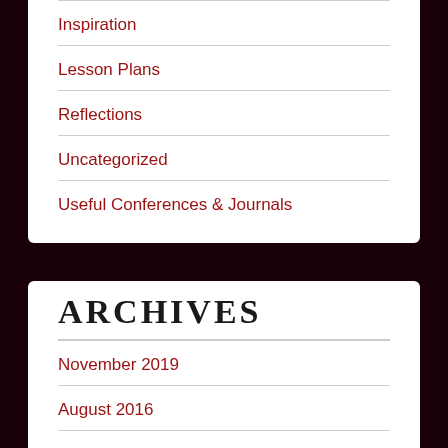Inspiration
Lesson Plans
Reflections
Uncategorized
Useful Conferences & Journals
Archives
November 2019
August 2016
June 2016
May 2016
February 2016
November 2015